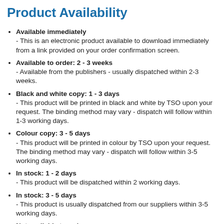Product Availability
Available immediately - This is an electronic product available to download immediately from a link provided on your order confirmation screen.
Available to order: 2 - 3 weeks - Available from the publishers - usually dispatched within 2-3 weeks.
Black and white copy: 1 - 3 days - This product will be printed in black and white by TSO upon your request. The binding method may vary - dispatch will follow within 1-3 working days.
Colour copy: 3 - 5 days - This product will be printed in colour by TSO upon your request. The binding method may vary - dispatch will follow within 3-5 working days.
In stock: 1 - 2 days - This product will be dispatched within 2 working days.
In stock: 3 - 5 days - This product is usually dispatched from our suppliers within 3-5 working days.
Not available to order - This product is not available to order online. Please contact our dedicated customer services department on +44 (0)0333 202 5070 or email esupport@tso.co.uk.
Not yet published: available to order - This product is not yet published. However, you can place an